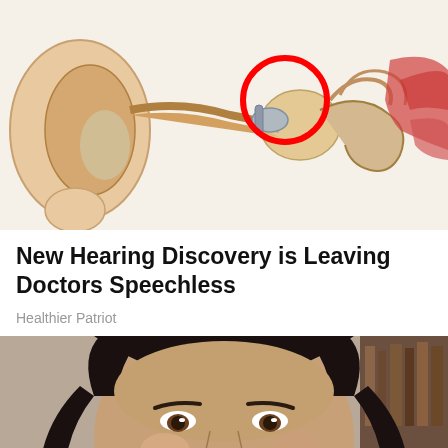[Figure (illustration): Cross-section anatomical illustration of the human ear showing inner ear structures with a red circle highlighting a specific area near the ear canal]
New Hearing Discovery is Leaving Doctors Speechless
Healthier Patriot
[Figure (photo): A dark-haired woman applying something white (possibly a nasal strip or cotton swab) to her nose, photographed from a close-up angle]